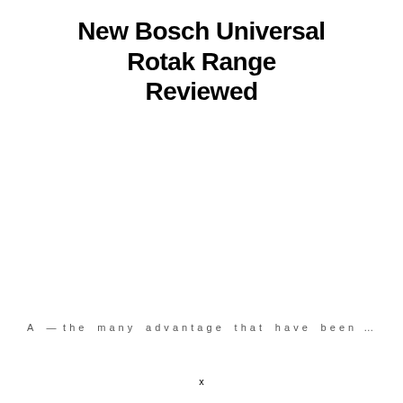New Bosch Universal Rotak Range Reviewed
Among the many advantages that have been...
x